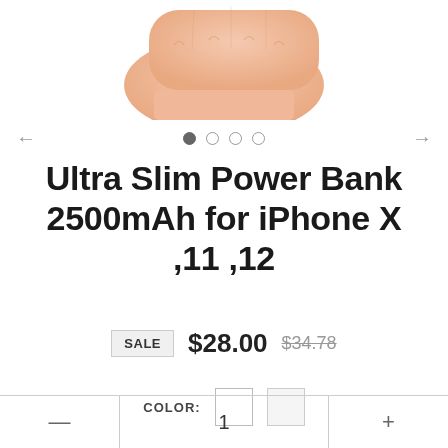[Figure (photo): A hand holding a slim power bank product from below, shown from the wrist up against a white background]
Ultra Slim Power Bank 2500mAh for iPhone X ,11 ,12
SALE $28.00 $34.78
COLOR:
1